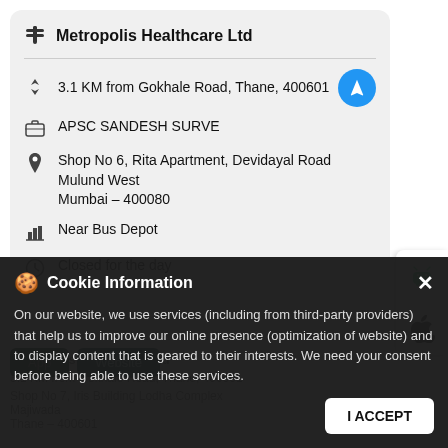Metropolis Healthcare Ltd
3.1 KM from Gokhale Road, Thane, 400601
APSC SANDESH SURVE
Shop No 6, Rita Apartment, Devidayal Road Mulund West Mumbai – 400080
Near Bus Depot
Closed for the day
Cookie Information
On our website, we use services (including from third-party providers) that help us to improve our online presence (optimization of website) and to display content that is geared to their interests. We need your consent before being able to use these services.
Metropolis Healthcare Ltd
3.1 KM from Gokhale Road, Thane, 400601
Shop No 7, Iris Building Lodha Complex Majiwada Thane – 400601